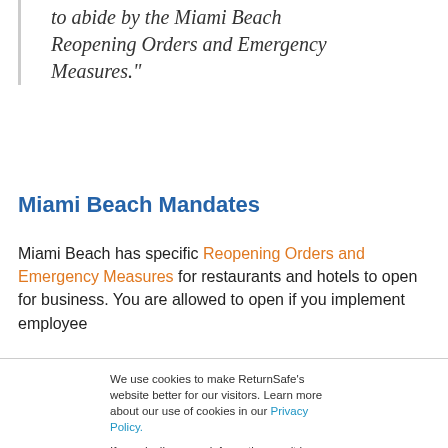to abide by the Miami Beach Reopening Orders and Emergency Measures.”
Miami Beach Mandates
Miami Beach has specific Reopening Orders and Emergency Measures for restaurants and hotels to open for business. You are allowed to open if you implement employee
We use cookies to make ReturnSafe’s website better for our visitors. Learn more about our use of cookies in our Privacy Policy.

If you decline, your information won’t be tracked when you visit this website. A single cookie will be used in your browser to remember your preference not to be tracked.